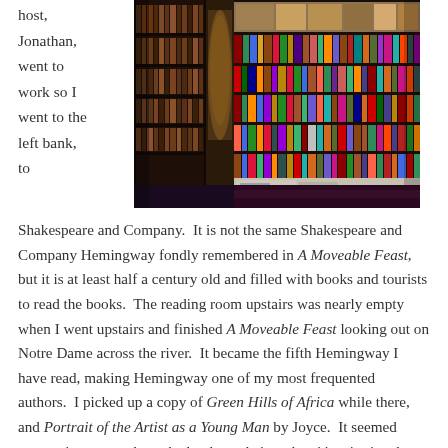host, Jonathan, went to work so I went to the left bank, to
[Figure (photo): Interior of Shakespeare and Company bookshop in Paris, showing floor-to-ceiling bookshelves densely packed with colorful books, wooden shelving units, and a dimly lit atmospheric interior.]
Shakespeare and Company.  It is not the same Shakespeare and Company Hemingway fondly remembered in A Moveable Feast, but it is at least half a century old and filled with books and tourists to read the books.  The reading room upstairs was nearly empty when I went upstairs and finished A Moveable Feast looking out on Notre Dame across the river.  It became the fifth Hemingway I have read, making Hemingway one of my most frequented authors.  I picked up a copy of Green Hills of Africa while there, and Portrait of the Artist as a Young Man by Joyce.  It seemed appropriate to purchase the books at their authors' inspirational nexus.  Friday night I met up with Jonathan and he took me to shabbat dinner with his cousin and